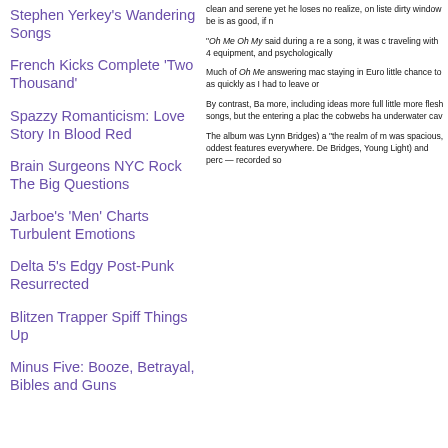Stephen Yerkey's Wandering Songs
French Kicks Complete 'Two Thousand'
Spazzy Romanticism: Love Story In Blood Red
Brain Surgeons NYC Rock The Big Questions
Jarboe's 'Men' Charts Turbulent Emotions
Delta 5's Edgy Post-Punk Resurrected
Blitzen Trapper Spiff Things Up
Minus Five: Booze, Betrayal, Bibles and Guns
clean and serene yet he loses no realize, on liste dirty window be is as good, if n
"Oh Me Oh My said during a re a song, it was c traveling with 4 equipment, and psychologically
Much of Oh Me answering mac staying in Euro little chance to as quickly as I had to leave or
By contrast, Ba more, including ideas more full little more flesh songs, but the entering a plac the cobwebs ha underwater cav
The album was Lynn Bridges) a "the realm of m was spacious, oddest features everywhere. De Bridges, Young Light) and perc — recorded so